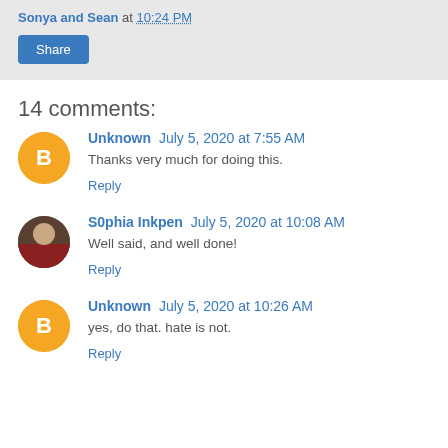Sonya and Sean at 10:24 PM
Share
14 comments:
Unknown July 5, 2020 at 7:55 AM
Thanks very much for doing this.
Reply
S0phia Inkpen July 5, 2020 at 10:08 AM
Well said, and well done!
Reply
Unknown July 5, 2020 at 10:26 AM
yes, do that. hate is not.
Reply